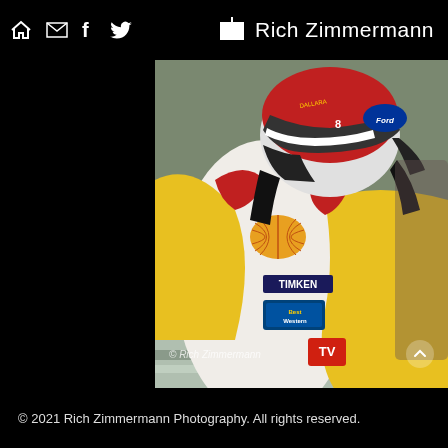Rich Zimmermann
[Figure (photo): Racing driver wearing yellow, white, and red racing suit with Shell, Timken, Best Western, and TV sponsor logos, wearing a red and white helmet with Ford logo, photographed from behind/side at a racetrack. Watermark: © Rich Zimmermann]
© 2021 Rich Zimmermann Photography. All rights reserved.